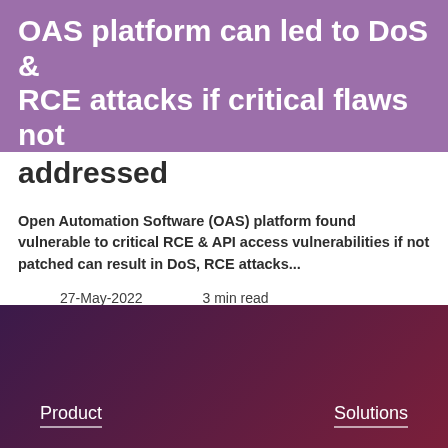OAS platform can led to DoS & RCE attacks if critical flaws not addressed
Open Automation Software (OAS) platform found vulnerable to critical RCE & API access vulnerabilities if not patched can result in DoS, RCE attacks...
27-May-2022    3 min read
Product    Solutions